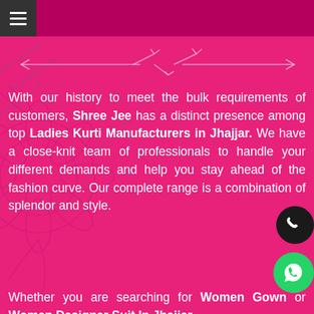≡
[Figure (illustration): Decorative floral and arrow/divider design on pink background]
With our history to meet the bulk requirements of customers, Shree Jee has a distinct presence among top Ladies Kurti Manufacturers in Jhajjar. We have a close-knit team of professionals to handle your different demands and help you stay ahead of the fashion curve. Our complete range is a combination of splendor and style.
Whether you are searching for Women Gown or Women Designer Suit In Jhajjar